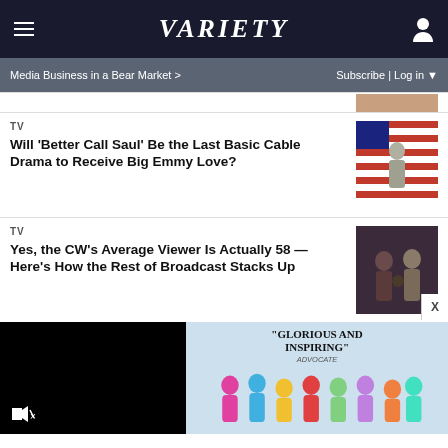VARIETY
Media Business in a Bear Market > | Subscribe | Log in
TV
Will ‘Better Call Saul’ Be the Last Basic Cable Drama to Receive Big Emmy Love?
[Figure (photo): Man standing in front of an American flag]
TV
Yes, the CW’s Average Viewer Is Actually 58 — Here’s How the Rest of Broadcast Stacks Up
[Figure (photo): Group of people in dark setting]
[Figure (photo): Advertisement: GLORIOUS AND INSPIRING - Advocate, showing colorful group of people]
[Figure (other): Video player panel, black screen with muted speaker icon]